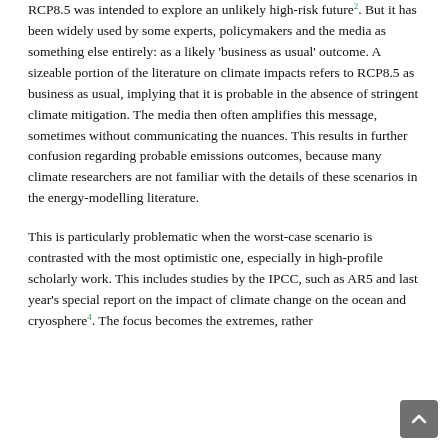RCP8.5 was intended to explore an unlikely high-risk future². But it has been widely used by some experts, policymakers and the media as something else entirely: as a likely 'business as usual' outcome. A sizeable portion of the literature on climate impacts refers to RCP8.5 as business as usual, implying that it is probable in the absence of stringent climate mitigation. The media then often amplifies this message, sometimes without communicating the nuances. This results in further confusion regarding probable emissions outcomes, because many climate researchers are not familiar with the details of these scenarios in the energy-modelling literature.
This is particularly problematic when the worst-case scenario is contrasted with the most optimistic one, especially in high-profile scholarly work. This includes studies by the IPCC, such as AR5 and last year's special report on the impact of climate change on the ocean and cryosphere⁴. The focus becomes the extremes, rather